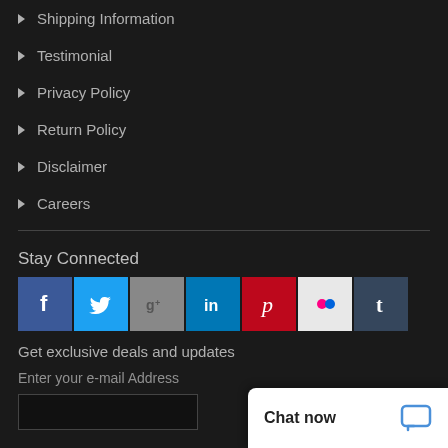Shipping Information
Testimonial
Privacy Policy
Return Policy
Disclaimer
Careers
Stay Connected
[Figure (infographic): Social media icons: Facebook, Twitter, Google+, LinkedIn, Pinterest, Flickr, Tumblr]
Get exclusive deals and updates
Enter your e-mail Address
Chat now